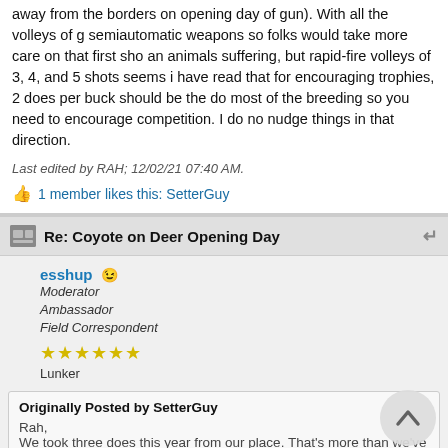away from the borders on opening day of gun). With all the volleys of g... semiautomatic weapons so folks would take more care on that first sho... an animals suffering, but rapid-fire volleys of 3, 4, and 5 shots seems i... have read that for encouraging trophies, 2 does per buck should be the... do most of the breeding so you need to encourage competition. I do no... nudge things in that direction.
Last edited by RAH; 12/02/21 07:40 AM.
1 member likes this: SetterGuy
Re: Coyote on Deer Opening Day
esshup
Moderator
Ambassador
Field Correspondent
★★★★★★
Lunker
Originally Posted by SetterGuy
Rah,
We took three does this year from our place. That's more than we've ev...